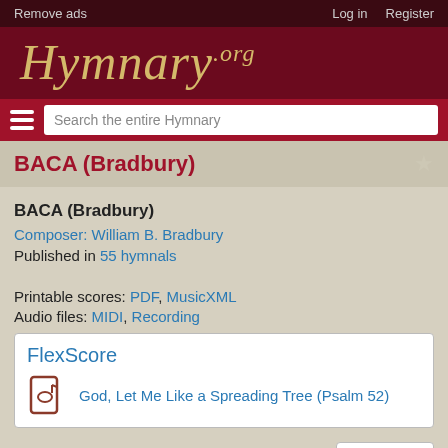Remove ads   Log in   Register
[Figure (logo): Hymnary.org logo in italic script on dark red background]
Search the entire Hymnary
BACA (Bradbury)
BACA (Bradbury)
Composer: William B. Bradbury
Published in 55 hymnals
Printable scores: PDF, MusicXML
Audio files: MIDI, Recording
FlexScore
God, Let Me Like a Spreading Tree (Psalm 52)
Composer: William B. Bradbury